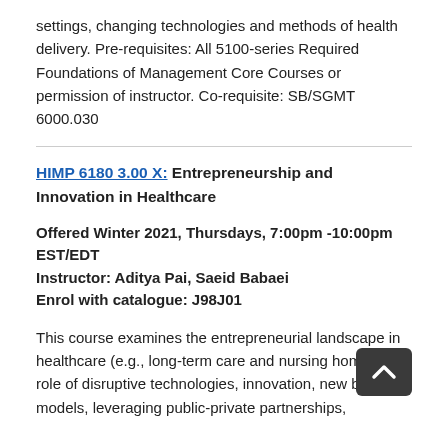settings, changing technologies and methods of health delivery. Pre-requisites: All 5100-series Required Foundations of Management Core Courses or permission of instructor. Co-requisite: SB/SGMT 6000.030
HIMP 6180 3.00 X: Entrepreneurship and Innovation in Healthcare
Offered Winter 2021, Thursdays, 7:00pm -10:00pm EST/EDT
Instructor: Aditya Pai, Saeid Babaei
Enrol with catalogue: J98J01
This course examines the entrepreneurial landscape in healthcare (e.g., long-term care and nursing homes), the role of disruptive technologies, innovation, new business models, leveraging public-private partnerships,